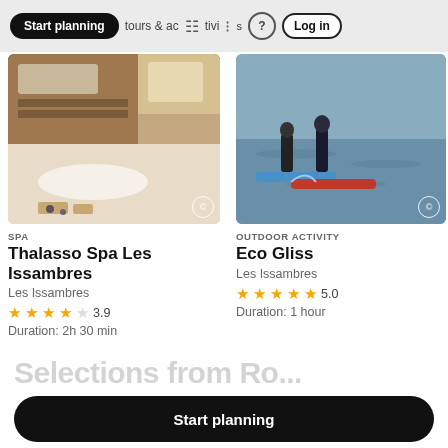Start planning | tours & activities | ? | Log in
[Figure (photo): Spa room with bathtub and massage table with towels]
SPA
Thalasso Spa Les Issambres
Les Issambres
3.9
Duration: 2h 30 min
[Figure (photo): Two people stand-up paddleboarding on water]
OUTDOOR ACTIVITY
Eco Gliss
Les Issambres
5.0
Duration: 1 hour
Start planning